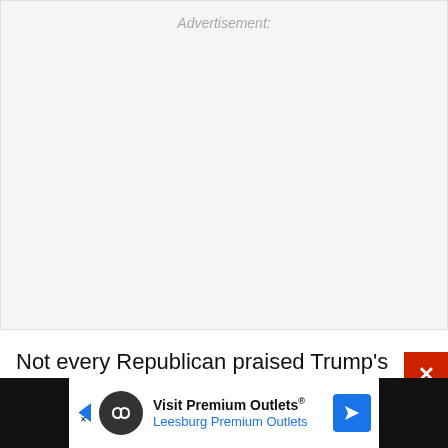[Figure (other): Advertisement placeholder box with light gray background and 'Advertisement:' label in italic gray text]
Not every Republican praised Trump's decision,
[Figure (other): Bottom advertisement bar: Visit Premium Outlets® Leesburg Premium Outlets, with logo and navigation icon, on dark background]